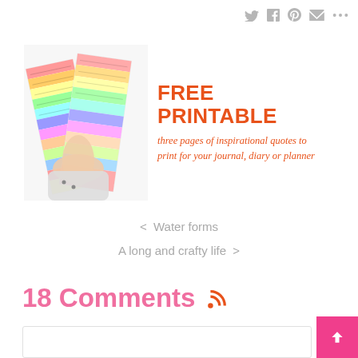social share icons: Twitter, Facebook, Pinterest, Email, More
[Figure (photo): Person holding colorful rainbow-striped pages with handwriting, promotional banner for free printable inspirational quotes]
FREE PRINTABLE
three pages of inspirational quotes to print for your journal, diary or planner
< Water forms
A long and crafty life >
18 Comments
comment input box